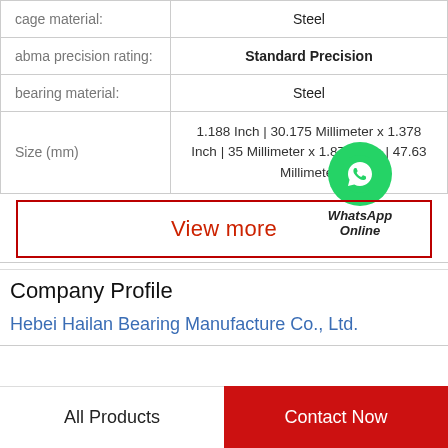| Property | Value |
| --- | --- |
| cage material: | Steel |
| abma precision rating: | Standard Precision |
| bearing material: | Steel |
| Size (mm) | 1.188 Inch | 30.175 Millimeter x 1.378 Inch | 35 Millimeter x 1.875 Inch | 47.63 Millimeter |
[Figure (logo): WhatsApp Online green phone icon with label 'WhatsApp Online']
View more
Company Profile
Hebei Hailan Bearing Manufacture Co., Ltd.
All Products    Contact Now